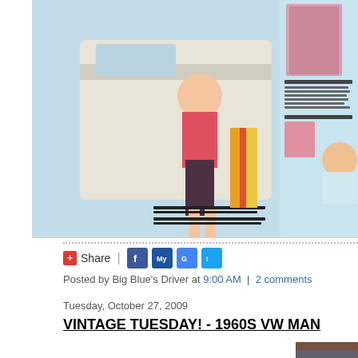[Figure (photo): Magazine page showing a woman in a pink/coral swimsuit top and dark bikini bottoms leaning against a vintage VW van on a beach, with product descriptions visible on the right side including a floral caftan and head scarf.]
[Figure (infographic): Social sharing bar with +Share button, Facebook, MySpace, Google, and Twitter icons.]
Posted by Big Blue's Driver at 9:00 AM  |  2 comments
Tuesday, October 27, 2009
VINTAGE TUESDAY! - 1960S VW MAN
[Figure (photo): Partial view of a vintage Volkswagen car, showing the roofline against a reddish-brown background.]